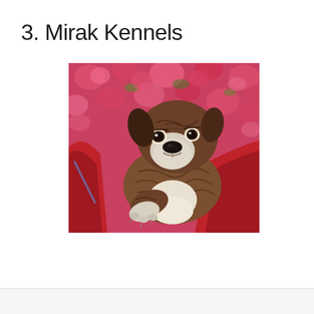3. Mirak Kennels
[Figure (photo): A brindle boxer puppy being held by a person in a red jacket, with pink flowers in the background. The puppy has a white muzzle and is looking directly at the camera with one paw extended forward.]